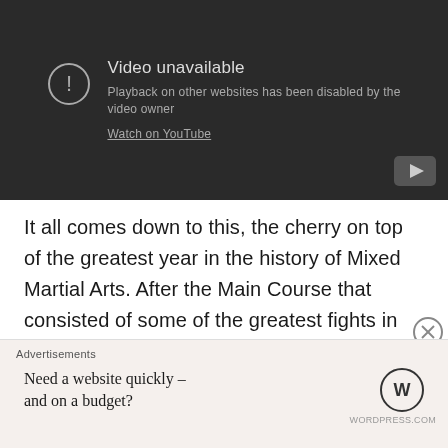[Figure (screenshot): YouTube video unavailable embed with dark background showing error message: 'Video unavailable. Playback on other websites has been disabled by the video owner. Watch on YouTube']
It all comes down to this, the cherry on top of the greatest year in the history of Mixed Martial Arts. After the Main Course that consisted of some of the greatest fights in history and some of the 'old guard' moving on, we get the tasty treat of the Michael Jordan of MMA attempting to
Advertisements
Need a website quickly – and on a budget?